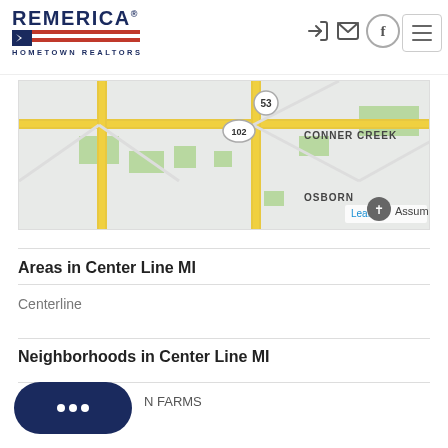Remerica Hometown Realtors header with navigation icons and hamburger menu
[Figure (map): Street map showing Center Line MI area with routes 53 and 102, neighborhoods Conner Creek and Osborn labeled, with a church marker labeled Assump and Leaflet attribution]
Areas in Center Line MI
Centerline
Neighborhoods in Center Line MI
N FARMS